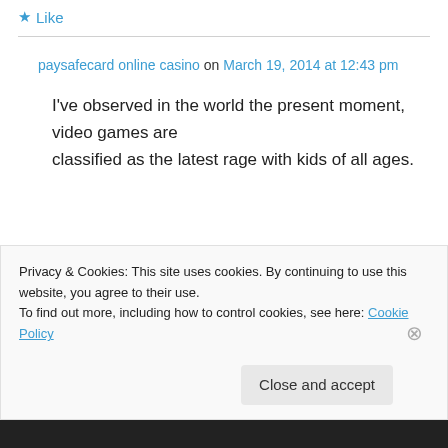Like
paysafecard online casino on March 19, 2014 at 12:43 pm
I've observed in the world the present moment, video games are classified as the latest rage with kids of all ages.
Privacy & Cookies: This site uses cookies. By continuing to use this website, you agree to their use. To find out more, including how to control cookies, see here: Cookie Policy
Close and accept